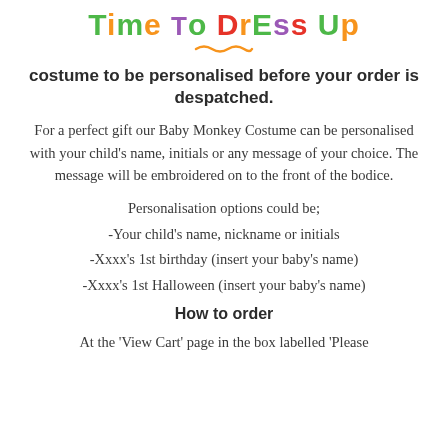[Figure (logo): Time To Dress Up colorful logo with decorative squiggle underneath]
costume to be personalised before your order is despatched.
For a perfect gift our Baby Monkey Costume can be personalised with your child's name, initials or any message of your choice. The message will be embroidered on to the front of the bodice.
Personalisation options could be;
-Your child's name, nickname or initials
-Xxxx's 1st birthday (insert your baby's name)
-Xxxx's 1st Halloween (insert your baby's name)
How to order
At the 'View Cart' page in the box labelled 'Please